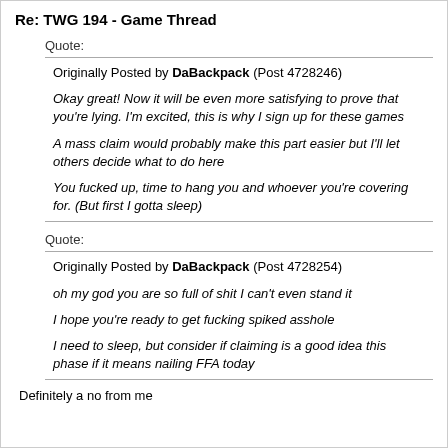Re: TWG 194 - Game Thread
Quote:
Originally Posted by DaBackpack (Post 4728246)
Okay great! Now it will be even more satisfying to prove that you're lying. I'm excited, this is why I sign up for these games

A mass claim would probably make this part easier but I'll let others decide what to do here

You fucked up, time to hang you and whoever you're covering for. (But first I gotta sleep)
Quote:
Originally Posted by DaBackpack (Post 4728254)
oh my god you are so full of shit I can't even stand it

I hope you're ready to get fucking spiked asshole

I need to sleep, but consider if claiming is a good idea this phase if it means nailing FFA today
Definitely a no from me